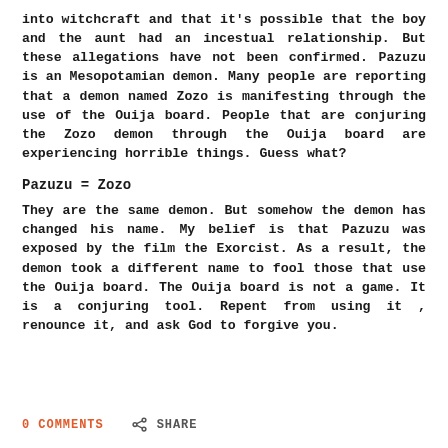into witchcraft and that it's possible that the boy and the aunt had an incestual relationship. But these allegations have not been confirmed. Pazuzu is an Mesopotamian demon. Many people are reporting that a demon named Zozo is manifesting through the use of the Ouija board. People that are conjuring the Zozo demon through the Ouija board are experiencing horrible things. Guess what?
Pazuzu = Zozo
They are the same demon. But somehow the demon has changed his name. My belief is that Pazuzu was exposed by the film the Exorcist. As a result, the demon took a different name to fool those that use the Ouija board. The Ouija board is not a game. It is a conjuring tool. Repent from using it , renounce it, and ask God to forgive you.
0 COMMENTS   SHARE